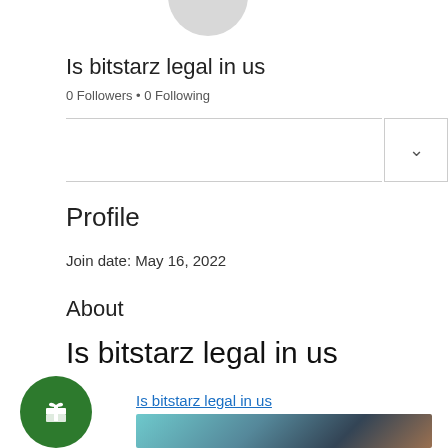[Figure (illustration): Circular avatar placeholder in gray]
Is bitstarz legal in us
0 Followers • 0 Following
Profile
Join date: May 16, 2022
About
Is bitstarz legal in us
Is bitstarz legal in us
[Figure (photo): Blurred colorful image at bottom of page]